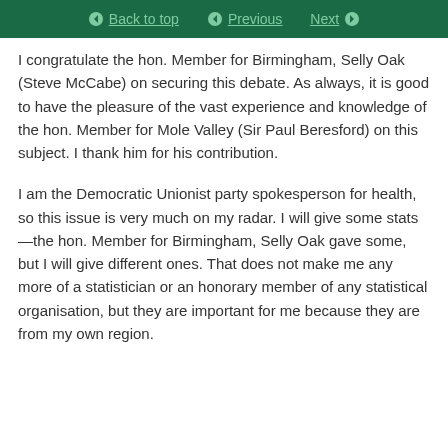Back to top | Previous | Next
I congratulate the hon. Member for Birmingham, Selly Oak (Steve McCabe) on securing this debate. As always, it is good to have the pleasure of the vast experience and knowledge of the hon. Member for Mole Valley (Sir Paul Beresford) on this subject. I thank him for his contribution.
I am the Democratic Unionist party spokesperson for health, so this issue is very much on my radar. I will give some stats—the hon. Member for Birmingham, Selly Oak gave some, but I will give different ones. That does not make me any more of a statistician or an honorary member of any statistical organisation, but they are important for me because they are from my own region.